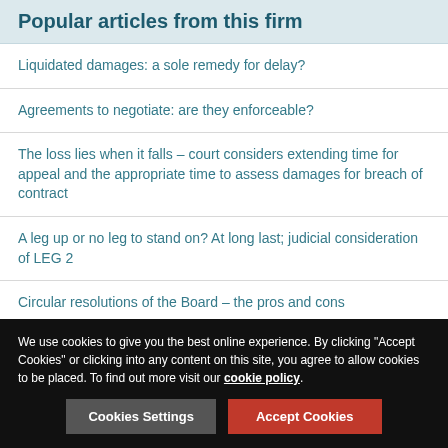Popular articles from this firm
Liquidated damages: a sole remedy for delay?
Agreements to negotiate: are they enforceable?
The loss lies when it falls – court considers extending time for appeal and the appropriate time to assess damages for breach of contract
A leg up or no leg to stand on? At long last; judicial consideration of LEG 2
Circular resolutions of the Board – the pros and cons
If you would like to learn how Lexology can drive your content marketing strategy forward, please email enquiries@lexology.com.
We use cookies to give you the best online experience. By clicking "Accept Cookies" or clicking into any content on this site, you agree to allow cookies to be placed. To find out more visit our cookie policy.